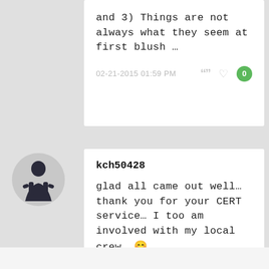and 3) Things are not always what they seem at first blush …
02-21-2015 01:59 PM
kch50428
glad all came out well… thank you for your CERT service… I too am involved with my local crew. 🙂
02-21-2015 02:04 PM